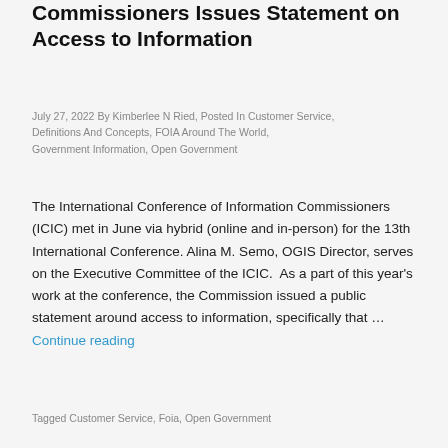International Conference of Information Commissioners Issues Statement on Access to Information
July 27, 2022 By Kimberlee N Ried, Posted In Customer Service, Definitions And Concepts, FOIA Around The World, Government Information, Open Government
The International Conference of Information Commissioners (ICIC) met in June via hybrid (online and in-person) for the 13th International Conference. Alina M. Semo, OGIS Director, serves on the Executive Committee of the ICIC. As a part of this year's work at the conference, the Commission issued a public statement around access to information, specifically that … Continue reading
Tagged Customer Service, Foia, Open Government